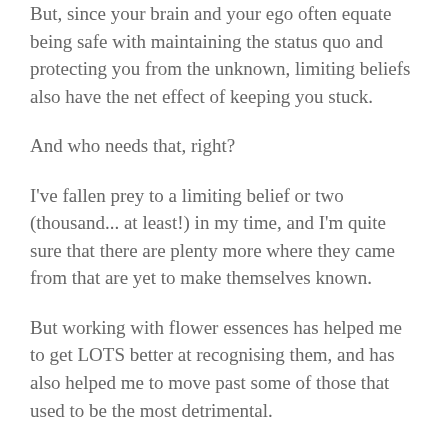But, since your brain and your ego often equate being safe with maintaining the status quo and protecting you from the unknown, limiting beliefs also have the net effect of keeping you stuck.
And who needs that, right?
I've fallen prey to a limiting belief or two (thousand... at least!) in my time, and I'm quite sure that there are plenty more where they came from that are yet to make themselves known.
But working with flower essences has helped me to get LOTS better at recognising them, and has also helped me to move past some of those that used to be the most detrimental.
If you're ready to let go of the hold that limiting beliefs have on you too, here are a